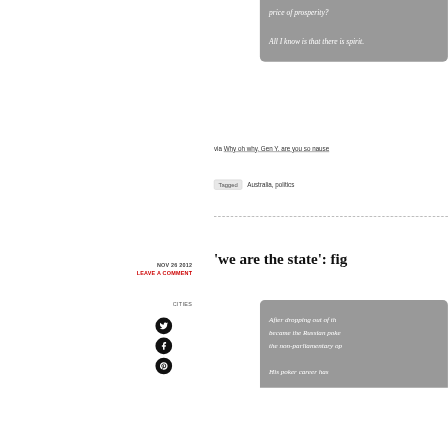price of prosperity?
All I know is that there is spirit.
via Why oh why, Gen Y, are you so nause…
Tagged  Australia, politics
NOV 26 2012
LEAVE A COMMENT
CITIES
[Figure (illustration): Social media icons: Twitter, Facebook, Pinterest (black circles)]
'we are the state': fig…
After dropping out of th… became the Russian poke… the non-parliamentary op…
His poker career has…